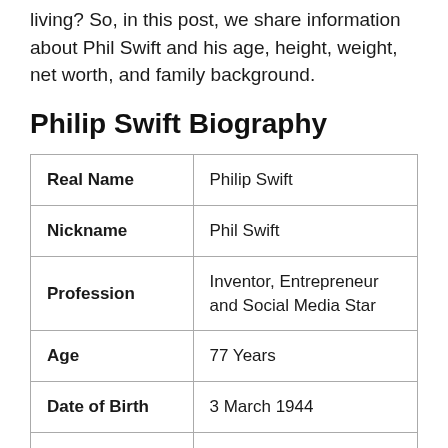living? So, in this post, we share information about Phil Swift and his age, height, weight, net worth, and family background.
Philip Swift Biography
|  |  |
| --- | --- |
| Real Name | Philip Swift |
| Nickname | Phil Swift |
| Profession | Inventor, Entrepreneur and Social Media Star |
| Age | 77 Years |
| Date of Birth | 3 March 1944 |